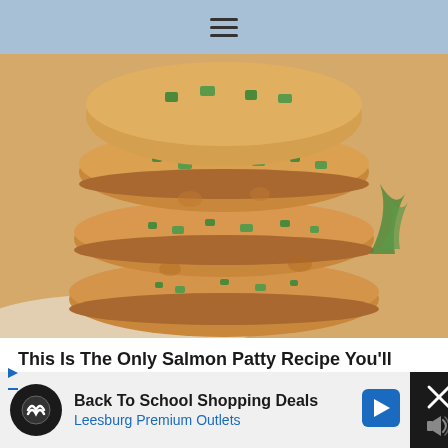≡
[Figure (photo): Stack of golden-brown salmon patties with green herbs/scallions, stacked on a white plate with dill garnish visible]
This Is The Only Salmon Patty Recipe You'll Ever Make Again
[Figure (photo): Partial view of a grill or cooking surface with dark metal bars and fixtures]
Back To School Shopping Deals Leesburg Premium Outlets